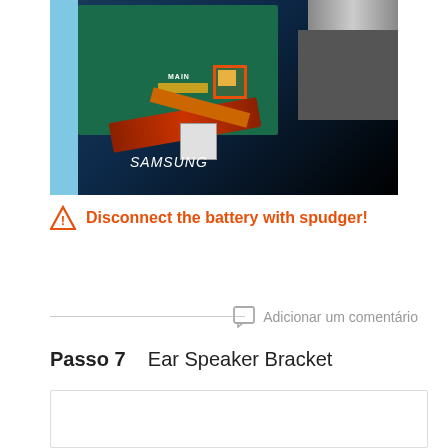[Figure (photo): Disassembled Samsung smartphone showing internal circuit board with orange highlighted connector, red ribbon cables, and Samsung battery label visible]
⚠ Disconnect the battery with spudger!
Adicionar um comentário
Passo 7    Ear Speaker Bracket
[Figure (photo): Next step photo area (partially visible, blank/loading)]